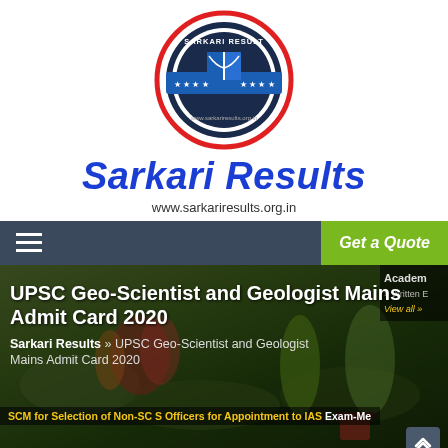[Figure (logo): Sarkari Result circular logo with red outer ring, navy inner circle, blue book icon, blue banner with stars, and website URL]
Sarkari Results
www.sarkariresults.org.in
[Figure (screenshot): Website screenshot showing navigation bar with hamburger menu and Get a Quote button, hero image with garden background, UPSC Geo-Scientist and Geologist Mains Admit Card 2020 title, breadcrumb, ticker bar, sidebar with Academic/Written links, scroll up button, and bottom navigation with Examination and Recruitment tabs, Calendar and Advertisements items]
UPSC Geo-Scientist and Geologist Mains Admit Card 2020
Sarkari Results » UPSC Geo-Scientist and Geologist Mains Admit Card 2020
SCM for Selection of Non-SC S Officers for Appointment to IAS Exam-Me
| Examination | Recruitment |
| --- | --- |
| Calendar | Advertisements |